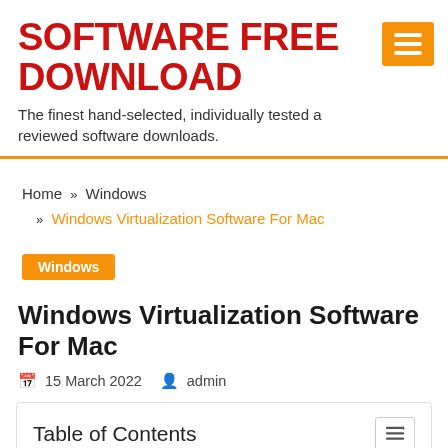SOFTWARE FREE DOWNLOAD
The finest hand-selected, individually tested and reviewed software downloads.
Home » Windows » Windows Virtualization Software For Mac
Windows
Windows Virtualization Software For Mac
15 March 2022  admin
Table of Contents
1. Best virtual machine software of 2022 | TechRadar.